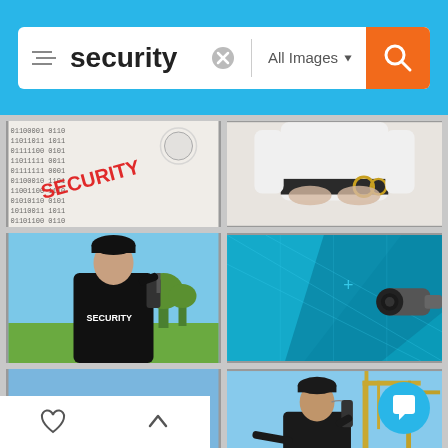[Figure (screenshot): Search bar UI showing 'security' query with 'All Images' dropdown and orange search button on blue background]
[Figure (photo): Binary code pattern with the word SECURITY in red letters and a clock/magnifying glass overlay]
[Figure (photo): Security officer from behind wearing white shirt with handcuffs on belt]
[Figure (photo): Security guard from behind wearing black jacket with SECURITY text, holding radio, outdoor field setting]
[Figure (photo): Security camera concept with blue tech overlay grid and a CCTV camera]
[Figure (photo): CCTV security camera against blue sky]
[Figure (photo): Security guard in black uniform with cap using radio, construction cranes in background, chat bubble icon overlay]